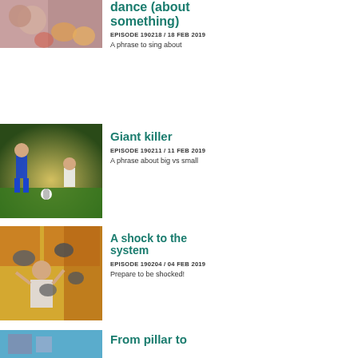[Figure (photo): People singing and dancing with balloons, partially visible at top]
dance (about something)
EPISODE 190218 / 18 FEB 2019
A phrase to sing about
[Figure (photo): Two football/soccer players on a field, one kicking and one sliding]
Giant killer
EPISODE 190211 / 11 FEB 2019
A phrase about big vs small
[Figure (photo): Person in kitchen surrounded by raccoons attacking them]
A shock to the system
EPISODE 190204 / 04 FEB 2019
Prepare to be shocked!
[Figure (photo): Partially visible image with blue background, bottom of page]
From pillar to